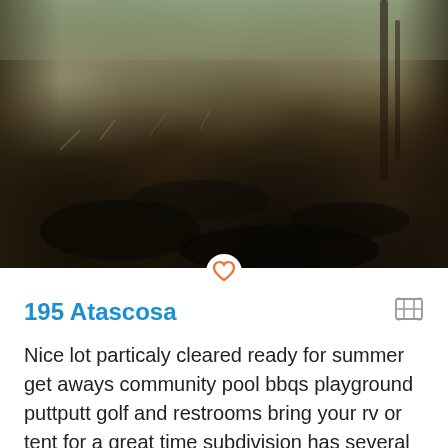[Figure (photo): Outdoor wooded lot photo showing dry grass, dark soil patches, scattered brush and trees, taken in natural daylight. The ground appears partially cleared with black burn marks or dark soil visible.]
195 Atascosa
Nice lot particaly cleared ready for summer get aways community pool bbqs playground puttputt golf and restrooms bring your rv or tent for a great time subdivision has several parks and lake access